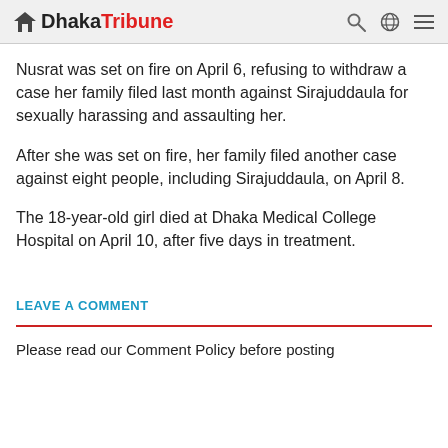Dhaka Tribune
Nusrat was set on fire on April 6, refusing to withdraw a case her family filed last month against Sirajuddaula for sexually harassing and assaulting her.
After she was set on fire, her family filed another case against eight people, including Sirajuddaula, on April 8.
The 18-year-old girl died at Dhaka Medical College Hospital on April 10, after five days in treatment.
LEAVE A COMMENT
Please read our Comment Policy before posting